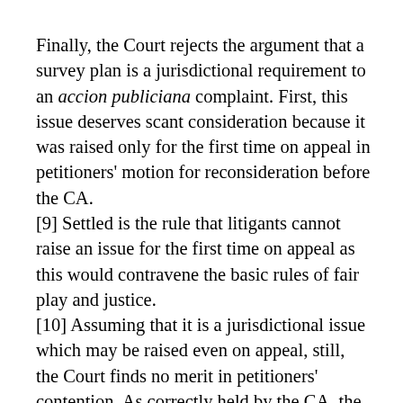Finally, the Court rejects the argument that a survey plan is a jurisdictional requirement to an accion publiciana complaint. First, this issue deserves scant consideration because it was raised only for the first time on appeal in petitioners' motion for reconsideration before the CA. [9] Settled is the rule that litigants cannot raise an issue for the first time on appeal as this would contravene the basic rules of fair play and justice. [10] Assuming that it is a jurisdictional issue which may be raised even on appeal, still, the Court finds no merit in petitioners' contention. As correctly held by the CA, the records reveal that the identity of the property can be resolved by mere review of the records. Attached to the complaint is the title containing the description of the subject property, making it an integral